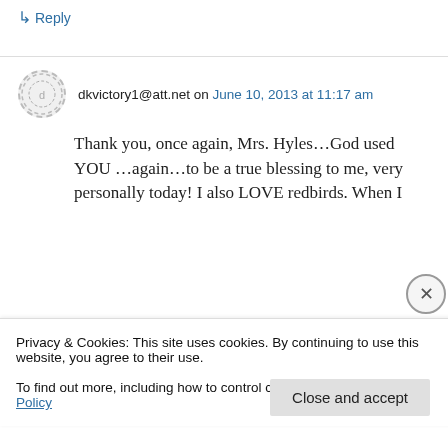↳ Reply
dkvictory1@att.net on June 10, 2013 at 11:17 am
Thank you, once again, Mrs. Hyles…God used YOU …again…to be a true blessing to me, very personally today!  I also LOVE redbirds.  When I
Privacy & Cookies: This site uses cookies. By continuing to use this website, you agree to their use.
To find out more, including how to control cookies, see here: Cookie Policy
Close and accept